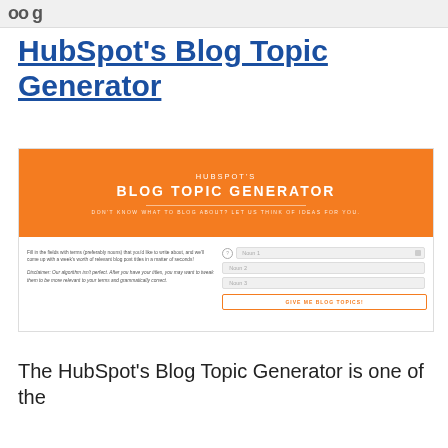oo g
HubSpot's Blog Topic Generator
[Figure (screenshot): Screenshot of HubSpot's Blog Topic Generator tool showing an orange banner header with the tool name, a subtitle 'DON'T KNOW WHAT TO BLOG ABOUT? LET US THINK OF IDEAS FOR YOU.', and a form below with three noun input fields and a 'GIVE ME BLOG TOPICS!' button.]
The HubSpot's Blog Topic Generator is one of the